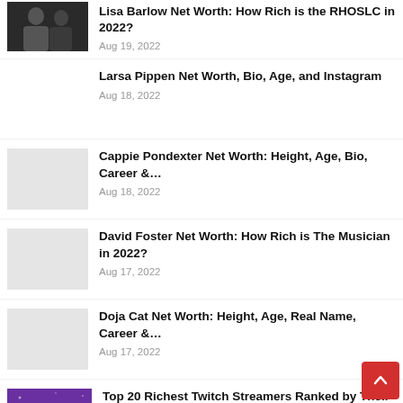Lisa Barlow Net Worth: How Rich is the RHOSLC in 2022? — Aug 19, 2022
Larsa Pippen Net Worth, Bio, Age, and Instagram — Aug 18, 2022
Cappie Pondexter Net Worth: Height, Age, Bio, Career &… — Aug 18, 2022
David Foster Net Worth: How Rich is The Musician in 2022? — Aug 17, 2022
Doja Cat Net Worth: Height, Age, Real Name, Career &… — Aug 17, 2022
Top 20 Richest Twitch Streamers Ranked by Their Net Worth